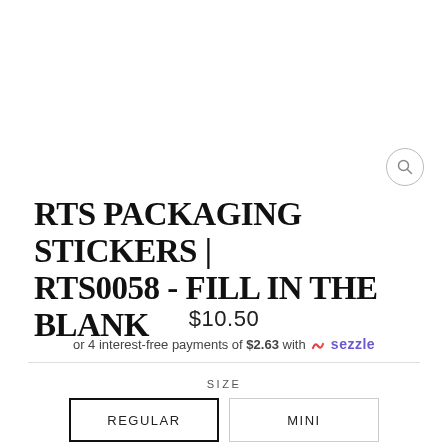[Figure (other): Search icon (magnifying glass) in a circular border in the top right area]
RTS PACKAGING STICKERS | RTS0058 - FILL IN THE BLANK
$10.50
or 4 interest-free payments of $2.63 with sezzle
SIZE
REGULAR
MINI
QUANTITY